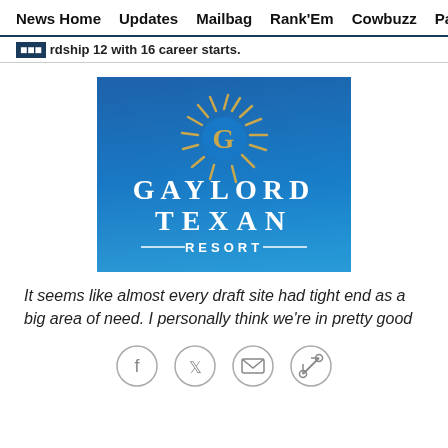News Home   Updates   Mailbag   Rank'Em   Cowbuzz   Past/Pres
...rdship 12 with 16 career starts.
[Figure (logo): Gaylord Texan Resort logo on a blue gradient background with a golden sun/G emblem above the text GAYLORD TEXAN RESORT]
It seems like almost every draft site had tight end as a big area of need. I personally think we're in pretty good
[Figure (infographic): Social sharing icons: Facebook, Twitter, Email, Link]